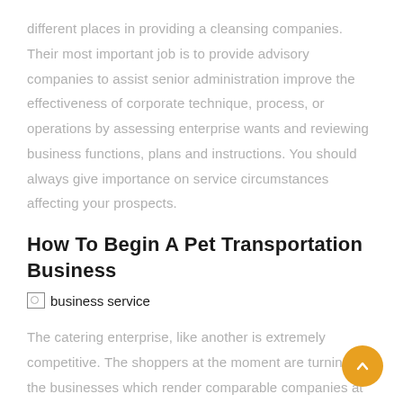different places in providing a cleansing companies. Their most important job is to provide advisory companies to assist senior administration improve the effectiveness of corporate technique, process, or operations by assessing enterprise wants and reviewing business functions, plans and instructions. You should always give importance on service circumstances affecting your prospects.
How To Begin A Pet Transportation Business
[Figure (other): Broken image placeholder labeled 'business service']
The catering enterprise, like another is extremely competitive. The shoppers at the moment are turning to the businesses which render comparable companies at comparatively low cost costs. Creating service that is personal won't solely retain customers, but help diffuse